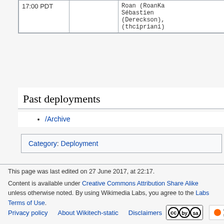| 17:00 PDT |  | Roan (RoanKa
Sébastien
(Dereckson),
(thcipriani) |
Past deployments
/Archive
Category:  Deployment
This page was last edited on 27 June 2017, at 22:17.
Content is available under Creative Commons Attribution Share Alike unless otherwise noted. By using Wikimedia Labs, you agree to the Labs Terms of Use.
Privacy policy   About Wikitech-static   Disclaimers